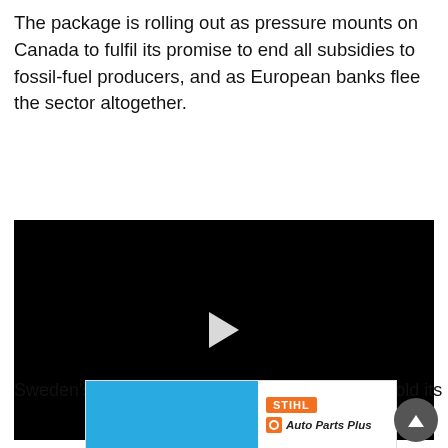The package is rolling out as pressure mounts on Canada to fulfil its promise to end all subsidies to fossil-fuel producers, and as European banks flee the sector altogether.
[Figure (other): Black video player with white play button triangle in center]
Sweden's central bank said Wednesday it had sold its
[Figure (other): Advertisement with blue rectangle on left and STIHL Auto Parts Plus branding on right]